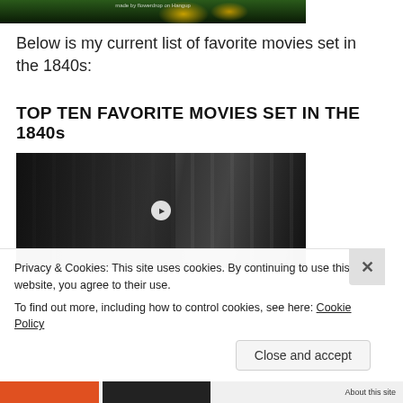[Figure (photo): Top banner image showing a dark outdoor scene with yellow flowers and foliage. Small text reads 'made by flowerdrop on Hangup'.]
Below is my current list of favorite movies set in the 1840s:
TOP TEN FAVORITE MOVIES SET IN THE 1840s
[Figure (screenshot): Black and white movie still showing a man in formal 19th century attire on the left looking at a woman in period dress with an decorative headband on the right. A play button overlay is visible in the center.]
Privacy & Cookies: This site uses cookies. By continuing to use this website, you agree to their use.
To find out more, including how to control cookies, see here: Cookie Policy
Close and accept